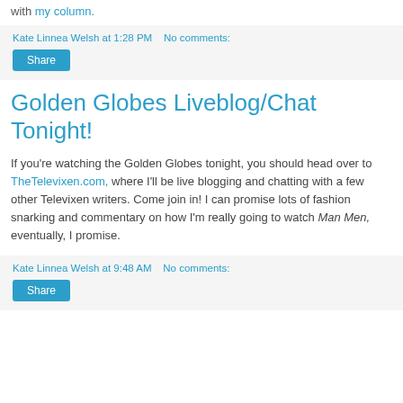with my column.
Kate Linnea Welsh at 1:28 PM   No comments:
Share
Golden Globes Liveblog/Chat Tonight!
If you're watching the Golden Globes tonight, you should head over to TheTelevixen.com, where I'll be live blogging and chatting with a few other Televixen writers. Come join in! I can promise lots of fashion snarking and commentary on how I'm really going to watch Man Men, eventually, I promise.
Kate Linnea Welsh at 9:48 AM   No comments:
Share